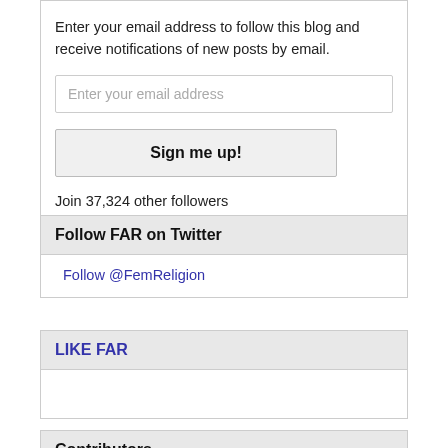Enter your email address to follow this blog and receive notifications of new posts by email.
[Figure (screenshot): Email input field with placeholder text 'Enter your email address']
[Figure (screenshot): Button labeled 'Sign me up!']
Join 37,324 other followers
Follow FAR on Twitter
Follow @FemReligion
LIKE FAR
Contributors